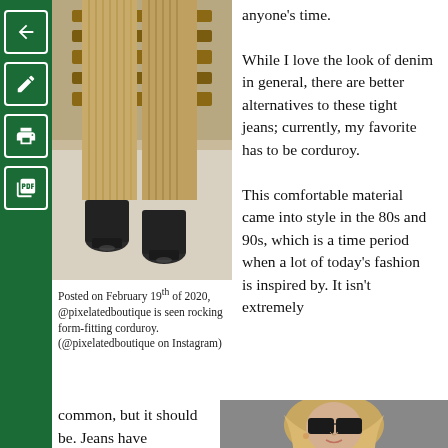[Figure (photo): Person wearing khaki/tan corduroy wide-leg pants with black heeled boots, lower body shot, wooden fence background]
anyone's time.

While I love the look of denim in general, there are better alternatives to these tight jeans; currently, my favorite has to be corduroy.

This comfortable material came into style in the 80s and 90s, which is a time period when a lot of today's fashion is inspired by. It isn't extremely
Posted on February 19th of 2020, @pixelatedboutique is seen rocking form-fitting corduroy. (@pixelatedboutique on Instagram)
common, but it should be. Jeans have represented casual clothing and
[Figure (photo): Woman with blonde hair wearing sunglasses and a white blazer, looking upward, fashion photo]